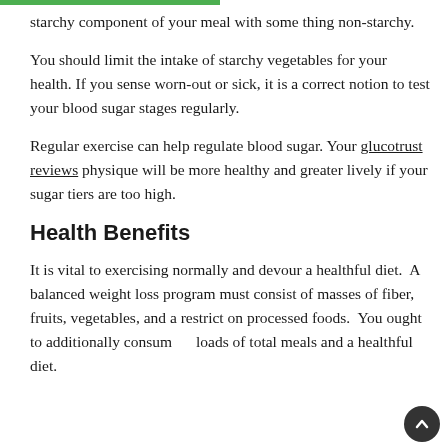starchy component of your meal with some thing non-starchy.
You should limit the intake of starchy vegetables for your health. If you sense worn-out or sick, it is a correct notion to test your blood sugar stages regularly.
Regular exercise can help regulate blood sugar. Your glucotrust reviews physique will be more healthy and greater lively if your sugar tiers are too high.
Health Benefits
It is vital to exercising normally and devour a healthful diet.  A balanced weight loss program must consist of masses of fiber, fruits, vegetables, and a restrict on processed foods.  You ought to additionally consume loads of total meals and a healthful diet.